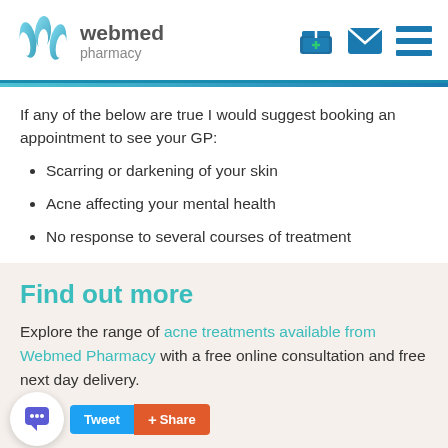[Figure (logo): Webmed Pharmacy logo with stylized blue-cyan W icon and text 'webmed pharmacy', plus navigation icons (basket, mail, menu)]
If any of the below are true I would suggest booking an appointment to see your GP:
Scarring or darkening of your skin
Acne affecting your mental health
No response to several courses of treatment
Find out more
Explore the range of acne treatments available from Webmed Pharmacy with a free online consultation and free next day delivery.